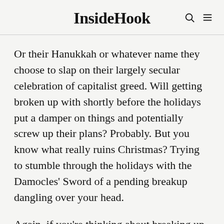InsideHook
Or their Hanukkah or whatever name they choose to slap on their largely secular celebration of capitalist greed. Will getting broken up with shortly before the holidays put a damper on things and potentially screw up their plans? Probably. But you know what really ruins Christmas? Trying to stumble through the holidays with the Damocles' Sword of a pending breakup dangling over your head.
Again, if you're thinking about breaking up with someone, that person probably already